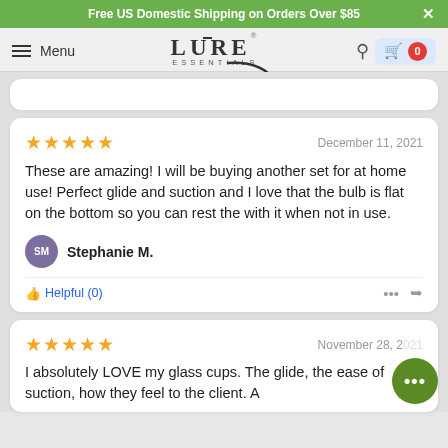Free US Domestic Shipping on Orders Over $85
[Figure (screenshot): Lure Essentials website navigation bar with hamburger menu, logo, search icon, and cart with 0 items]
These are amazing! I will be buying another set for at home use! Perfect glide and suction and I love that the bulb is flat on the bottom so you can rest the with it when not in use.
Stephanie M.
Helpful (0)
I absolutely LOVE my glass cups. The glide, the ease of suction, how they feel to the client. A